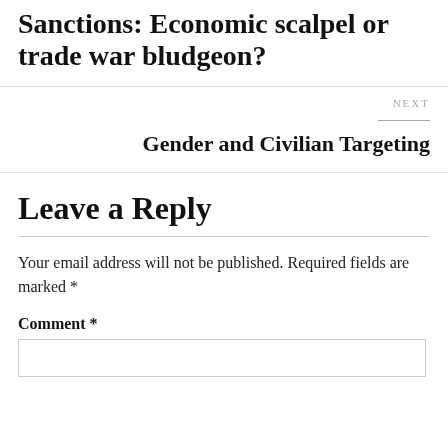Sanctions: Economic scalpel or trade war bludgeon?
NEXT
Gender and Civilian Targeting
Leave a Reply
Your email address will not be published. Required fields are marked *
Comment *